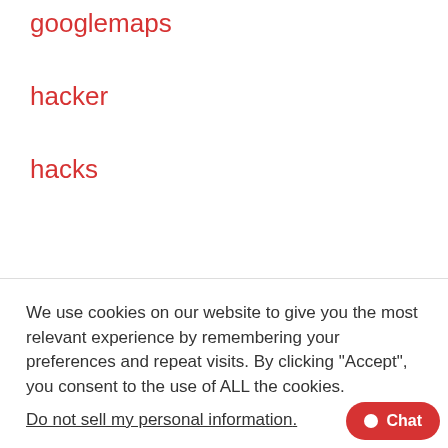googlemaps
hacker
hacks
We use cookies on our website to give you the most relevant experience by remembering your preferences and repeat visits. By clicking “Accept”, you consent to the use of ALL the cookies.
Do not sell my personal information.
Cookie settings  ACCEPT
hard
I don't buy it
iCal
imac